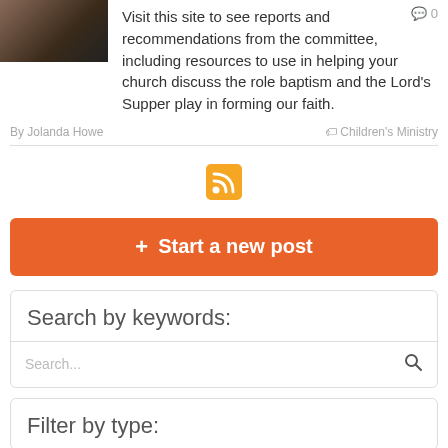[Figure (photo): Small thumbnail image of a person, partially visible at top left]
Visit this site to see reports and recommendations from the committee, including resources to use in helping your church discuss the role baptism and the Lord's Supper play in forming our faith.
By Jolanda Howe
Children's Ministry
[Figure (other): RSS feed icon, orange square with white wifi-style signal lines]
+ Start a new post
Search by keywords:
Search...
Filter by type: